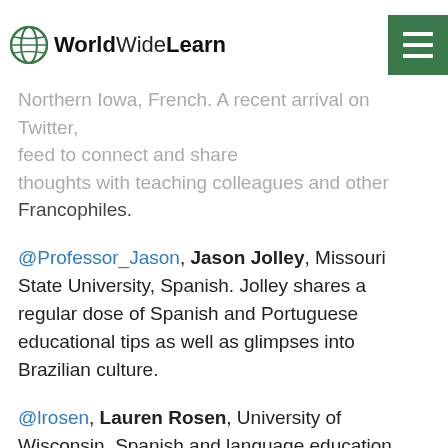WorldWideLearn
Northern Iowa, French. A recent arrival on Twitter, feed to connect and share thoughts with teaching colleagues and other Francophiles.
@Professor_Jason, Jason Jolley, Missouri State University, Spanish. Jolley shares a regular dose of Spanish and Portuguese educational tips as well as glimpses into Brazilian culture.
@lrosen, Lauren Rosen, University of Wisconsin, Spanish and language education. The Director of UW's Collaborative Language Program tweets regularly on technology integration in language instruction.
@profsjb, Sara J. Brenneis, Amherst College, Spanish. Lots of funny tweets on pop culture and current events, along with perspectives on “highbrow” topics like art and academics.